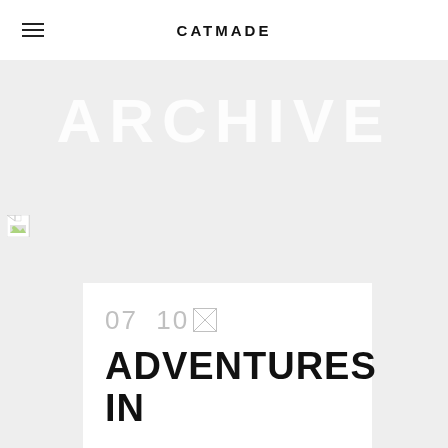CATMADE
[Figure (photo): Broken image placeholder icon (small file icon with green corner)]
ARCHIVE
07 10 [calendar icon]
ADVENTURES IN